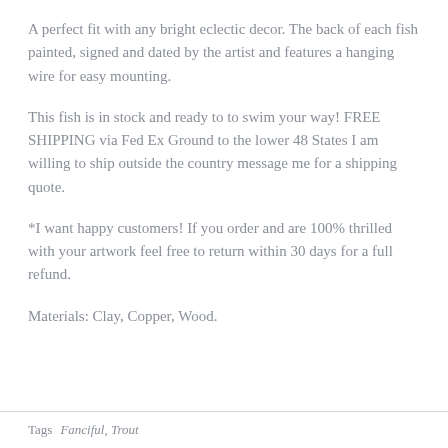A perfect fit with any bright eclectic decor. The back of each fish painted, signed and dated by the artist and features a hanging wire for easy mounting.
This fish is in stock and ready to to swim your way! FREE SHIPPING via Fed Ex Ground to the lower 48 States I am willing to ship outside the country message me for a shipping quote.
*I want happy customers! If you order and are 100% thrilled with your artwork feel free to return within 30 days for a full refund.
Materials: Clay, Copper, Wood.
Tags   Fanciful, Trout